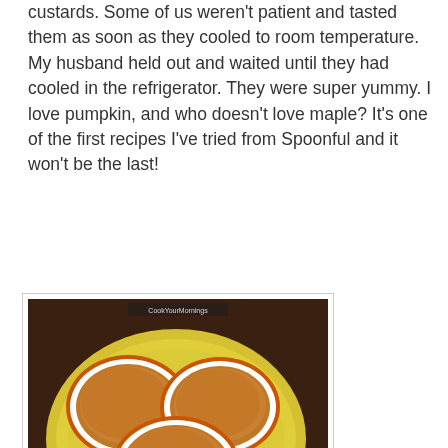custards. Some of us weren't patient and tasted them as soon as they cooled to room temperature. My husband held out and waited until they had cooled in the refrigerator. They were super yummy. I love pumpkin, and who doesn't love maple? It's one of the first recipes I've tried from Spoonful and it won't be the last!
[Figure (photo): Three orange ramekins filled with pumpkin maple custard, arranged on a yellow plate, photographed from above on a dark wood surface.]
photo by Amy Hodges
I was not compensated in any way for this post! (except with